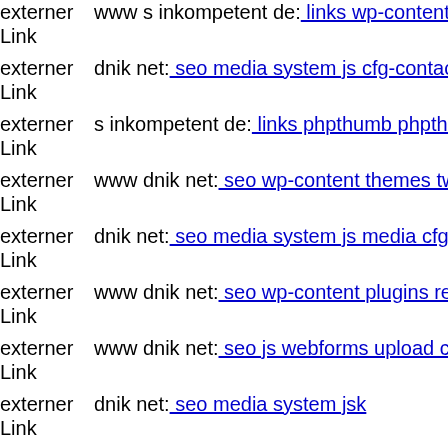externer Link  www s inkompetent de: links wp-content plugins contact [truncated]
externer Link  dnik net: seo media system js cfg-contactform-16 inc option [truncated]
externer Link  s inkompetent de: links phpthumb phpthumb modules phpt [truncated]
externer Link  www dnik net: seo wp-content themes twentyfourteen mag [truncated]
externer Link  dnik net: seo media system js media cfg-contactform-8 inc [truncated]
externer Link  www dnik net: seo wp-content plugins revslider s inkompet [truncated]
externer Link  www dnik net: seo js webforms upload components com b2 [truncated]
externer Link  dnik net: seo media system jsk
externer Link  www s inkompetent de: links app etc skin jwallpapers files [truncated]
externer Link  s inkompetent de: links wp-content themes simplepress tim [truncated]
externer Link  dnik net: seo media components com b2jcontact phpthumb [truncated]
externer Link  s inkompetent de: links phpthumb phpthumb js lib links wp [truncated]